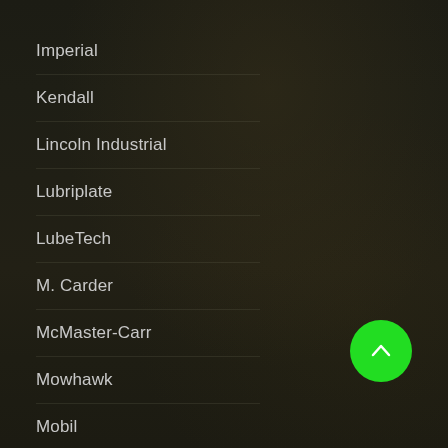Imperial
Kendall
Lincoln Industrial
Lubriplate
LubeTech
M. Carder
McMaster-Carr
Mowhawk
Mobil
Mystik
Nason